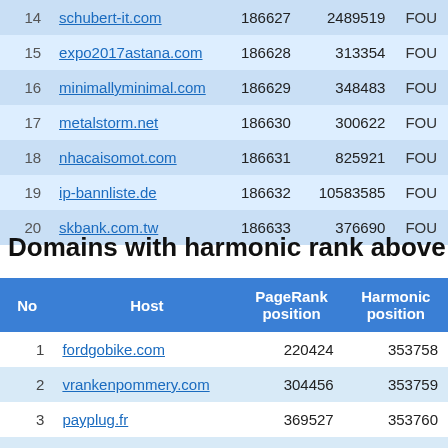| No | Host | PageRank position | Harmonic position |  |
| --- | --- | --- | --- | --- |
| 14 | schubert-it.com | 186627 | 2489519 | FOU |
| 15 | expo2017astana.com | 186628 | 313354 | FOU |
| 16 | minimallyminimal.com | 186629 | 348483 | FOU |
| 17 | metalstorm.net | 186630 | 300622 | FOU |
| 18 | nhacaisomot.com | 186631 | 825921 | FOU |
| 19 | ip-bannliste.de | 186632 | 10583585 | FOU |
| 20 | skbank.com.tw | 186633 | 376690 | FOU |
Domains with harmonic rank above
| No | Host | PageRank position | Harmonic position |
| --- | --- | --- | --- |
| 1 | fordgobike.com | 220424 | 353758 |
| 2 | vrankenpommery.com | 304456 | 353759 |
| 3 | payplug.fr | 369527 | 353760 |
| 4 | rusarmy.com | 1044339 | 353761 |